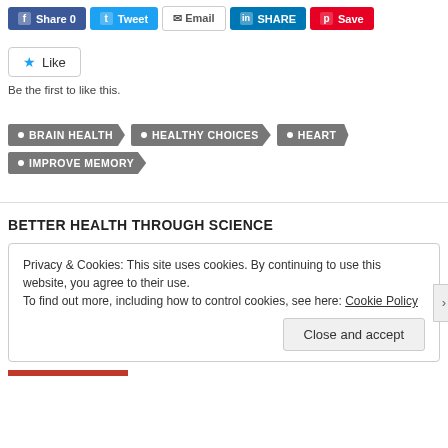[Figure (infographic): Social share buttons: Facebook Share 0, Twitter Tweet, Email, LinkedIn SHARE, Pinterest Save]
[Figure (infographic): Like button with star icon and text 'Be the first to like this.']
Be the first to like this.
BRAIN HEALTH
HEALTHY CHOICES
HEART
IMPROVE MEMORY
BETTER HEALTH THROUGH SCIENCE
Privacy & Cookies: This site uses cookies. By continuing to use this website, you agree to their use.
To find out more, including how to control cookies, see here: Cookie Policy
Close and accept